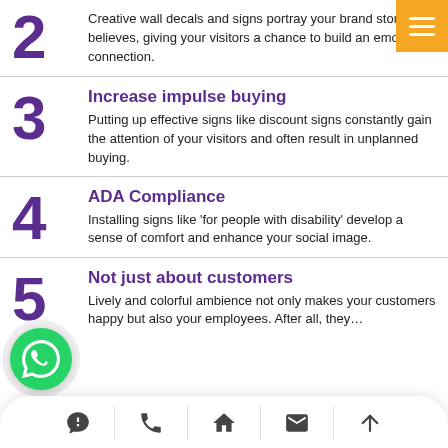2
Creative wall decals and signs portray your brand story and believes, giving your visitors a chance to build an emotional connection.
3
Increase impulse buying
Putting up effective signs like discount signs constantly gain the attention of your visitors and often result in unplanned buying.
4
ADA Compliance
Installing signs like ‘for people with disability’ develop a sense of comfort and enhance your social image.
5
Not just about customers
Lively and colorful ambience not only makes your customers happy but also your employees. After all, they…